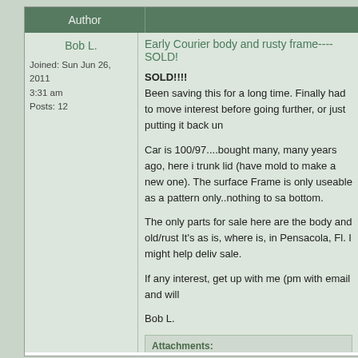Author
Bob L.
Joined: Sun Jun 26, 2011 3:31 am
Posts: 12
Early Courier body and rusty frame----SOLD!
SOLD!!!!
Been saving this for a long time. Finally had to move interest before going further, or just putting it back un

Car is 100/97....bought many, many years ago, here i trunk lid (have mold to make a new one). The surface Frame is only useable as a pattern only..nothing to sa bottom.

The only parts for sale here are the body and old/rust It's as is, where is, in Pensacola, Fl. I might help deliv sale.

If any interest, get up with me (pm with email and will

Bob L.
Attachments:
File comment: left frt qtr. view
DSCN3653.JPG [ 190.91 KiB | Viewed 4639 tim
File comment: right side on trailer
DSCN3656.JPG [ 191.4 KiB | Viewed 4639